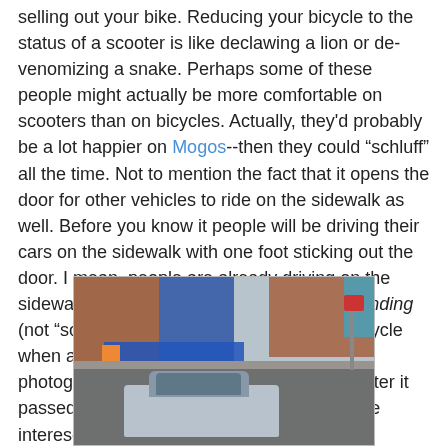selling out your bike. Reducing your bicycle to the status of a scooter is like declawing a lion or de-venomizing a snake. Perhaps some of these people might actually be more comfortable on scooters than on bicycles. Actually, they'd probably be a lot happier on Mogos--then they could "schluff" all the time. Not to mention the fact that it opens the door for other vehicles to ride on the sidewalk as well. Before you know it people will be driving their cars on the sidewalk with one foot sticking out the door. I mean, people are already driving on the sidewalks as it is--not too long ago I was standing (not "schluffing") on the sidewalk with my bicycle when a car almost hit me. I even have photographic evidence. Here's the car just after it passed me, left the sidewalk, and entered the interesection diagonally:
[Figure (photo): A photograph showing a car that has driven onto the sidewalk and is entering an intersection diagonally. Visible in the background are brick buildings and blue construction fencing.]